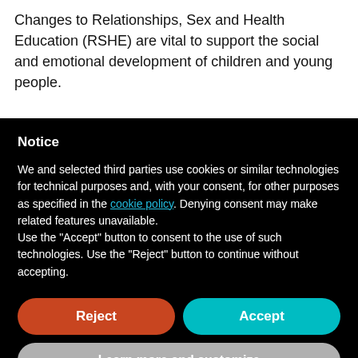Changes to Relationships, Sex and Health Education (RSHE) are vital to support the social and emotional development of children and young people.
Notice
We and selected third parties use cookies or similar technologies for technical purposes and, with your consent, for other purposes as specified in the cookie policy. Denying consent may make related features unavailable.
Use the "Accept" button to consent to the use of such technologies. Use the "Reject" button to continue without accepting.
Reject
Accept
Learn more and customize